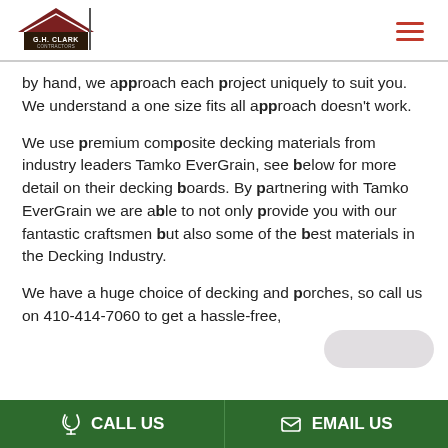[Figure (logo): G.H. Clark Contractors logo with roof/house icon and company name]
by hand, we approach each project uniquely to suit you. We understand a one size fits all approach doesn't work.
We use premium composite decking materials from industry leaders Tamko EverGrain, see below for more detail on their decking boards. By partnering with Tamko EverGrain we are able to not only provide you with our fantastic craftsmen but also some of the best materials in the Decking Industry.
We have a huge choice of decking and porches, so call us on 410-414-7060 to get a hassle-free,
CALL US   EMAIL US